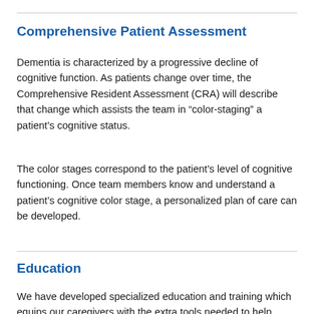Comprehensive Patient Assessment
Dementia is characterized by a progressive decline of cognitive function. As patients change over time, the Comprehensive Resident Assessment (CRA) will describe that change which assists the team in “color-staging” a patient’s cognitive status.
The color stages correspond to the patient’s level of cognitive functioning. Once team members know and understand a patient’s cognitive color stage, a personalized plan of care can be developed.
Education
We have developed specialized education and training which equips our caregivers with the extra tools needed to help patients experience a sense of personal worth